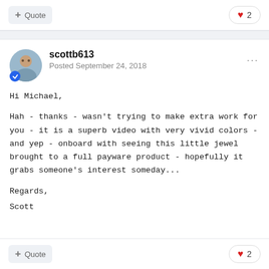+ Quote   ❤ 2
scottb613
Posted September 24, 2018
Hi Michael,

Hah - thanks - wasn't trying to make extra work for you - it is a superb video with very vivid colors - and yep - onboard with seeing this little jewel brought to a full payware product - hopefully it grabs someone's interest someday...

Regards,
Scott
+ Quote   ❤ 2